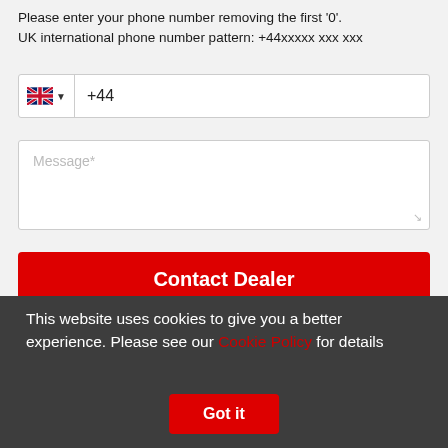Please enter your phone number removing the first '0'.
UK international phone number pattern: +44xxxxx xxx xxx
[Figure (screenshot): Phone number input field with UK flag, dropdown arrow, and +44 prefix]
[Figure (screenshot): Message text area input field with placeholder 'Message*' and resize handle]
Contact Dealer
This website uses cookies to give you a better experience. Please see our Cookie Policy for details
A selection of items from Deviantik
Deviantik has 200 items available.
Got it